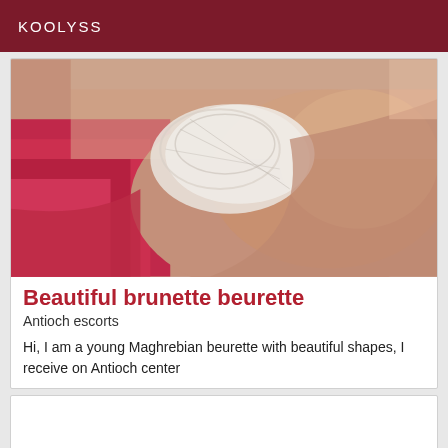KOOLYSS
[Figure (photo): Close-up photo of a person in white lace lingerie against a red/pink background]
Beautiful brunette beurette
Antioch escorts
Hi, I am a young Maghrebian beurette with beautiful shapes, I receive on Antioch center